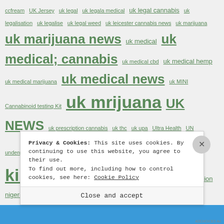ccfream UK Jersey uk legal uk legala medical uk legal cannabis uk legalisation uk legalise uk legal weed uk leicester cannabis news uk marijuana uk marijuana news uk medical uk medical; cannabis uk medical cbd uk medical hemp uk medical marijuana uk medical news uk MINI Cannabinoid testing Kit uk mrijuana UK NEWS uk prescription cannabis uk thc uk upa Ultra Health UN undergraduate cannabis unfair dismisal united kingdom united kingdom cannabis social clubs united nation nigeria cannabis united nations united nations panels united patients alliance United States UNIVERSITY CANNABIS University of British Columbia upa urologist urugu Uruguay uruguay cannabis
Privacy & Cookies: This site uses cookies. By continuing to use this website, you agree to their use.
To find out more, including how to control cookies, see here: Cookie Policy
Close and accept